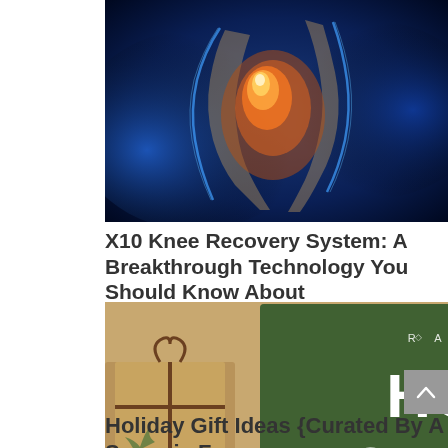[Figure (photo): Medical illustration of a knee joint with glowing orange/red highlight indicating pain or injury, on a dark blue background]
X10 Knee Recovery System: A Breakthrough Technology You Should Know About
[Figure (photo): Holiday gift ideas promotional image with dark green background showing large text 'HOLIDAY GIFT IDEAS FOR SPOONIES AND NON-SPOONIES' with a snowflake decoration and wrapped gifts in brown paper around it. Small text 'RARE' appears at top.]
Holiday Gift Ideas {Curated By A Spoonie For